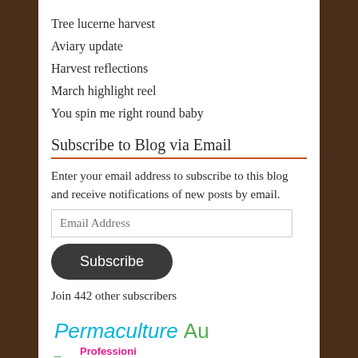Tree lucerne harvest
Aviary update
Harvest reflections
March highlight reel
You spin me right round baby
Subscribe to Blog via Email
Enter your email address to subscribe to this blog and receive notifications of new posts by email.
Join 442 other subscribers
[Figure (logo): Permaculture Au logo with cyan italic text and green text, plus a Professional tag in pink/magenta]